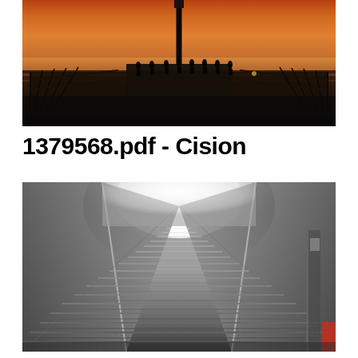[Figure (photo): Aerial/ground-level view of a pier at sunset with silhouettes of people standing along the railing. Warm orange and amber sky in the background, dark water below.]
1379568.pdf - Cision
[Figure (photo): Black and white photo of a long staircase leading upward into bright white fog/mist. The steps are tiled and flanked by walls on both sides with a vanishing point perspective.]